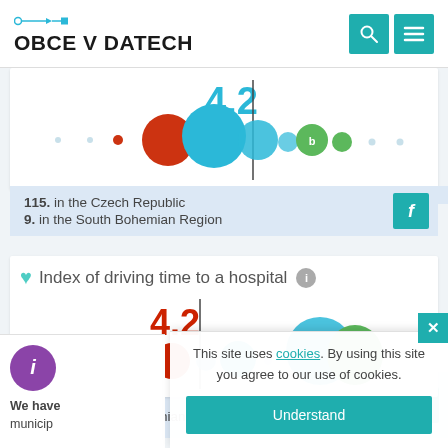[Figure (logo): OBCE V DATECH logo with teal connector line graphic and navigation icons (search, menu)]
[Figure (infographic): Bubble chart showing value 4.2 with vertical line, colored bubbles (red, blue, green) on a scale]
115. in the Czech Republic
9. in the South Bohemian Region
Index of driving time to a hospital
[Figure (infographic): Bubble chart showing value 4.2 in red with vertical line, colored bubbles (red, light blue, blue, green) on a scale]
This site uses cookies. By using this site you agree to our use of cookies.
Understand
We have
municip